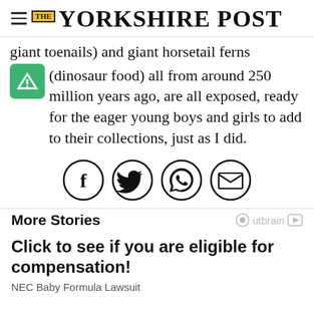THE YORKSHIRE POST
giant toenails) and giant horsetail ferns (dinosaur food) all from around 250 million years ago, are all exposed, ready for the eager young boys and girls to add to their collections, just as I did.
[Figure (infographic): Four social share icons in circles: Facebook (f), Twitter (bird), WhatsApp (phone), Email (envelope)]
More Stories
Click to see if you are eligible for compensation!
NEC Baby Formula Lawsuit